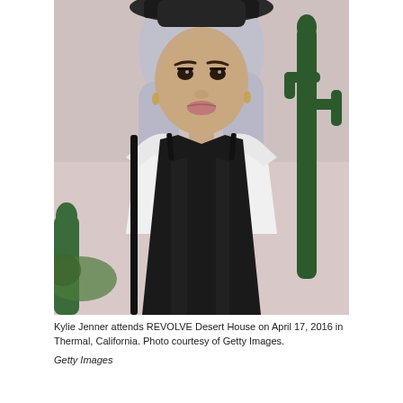[Figure (photo): Kylie Jenner wearing a black satin slip dress over a white t-shirt, with silver/lavender hair and a dark hat, standing in front of a pink background with cactus plants.]
Kylie Jenner attends REVOLVE Desert House on April 17, 2016 in Thermal, California. Photo courtesy of Getty Images.
Getty Images